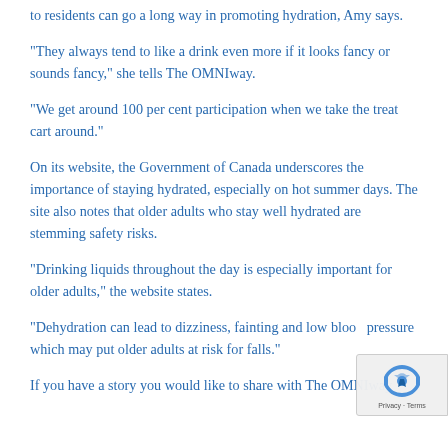to residents can go a long way in promoting hydration, Amy says.
“They always tend to like a drink even more if it looks fancy or sounds fancy,” she tells The OMNIway.
“We get around 100 per cent participation when we take the treat cart around.”
On its website, the Government of Canada underscores the importance of staying hydrated, especially on hot summer days. The site also notes that older adults who stay well hydrated are stemming safety risks.
“Drinking liquids throughout the day is especially important for older adults,” the website states.
“Dehydration can lead to dizziness, fainting and low blood pressure which may put older adults at risk for falls.”
If you have a story you would like to share with The OMNIway